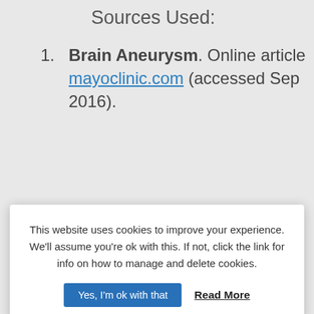Sources Used:
Brain Aneurysm. Online article mayoclinic.com (accessed Sep 2016).
[Figure (screenshot): Cookie consent banner overlay with text: 'This website uses cookies to improve your experience. We'll assume you're ok with this. If not, click the link for info on how to manage and delete cookies.' with buttons 'Yes, I'm ok with that' and 'Read More']
Brain. John Nolte. Mosby Elsevier (2010).
Fundamentals of Human Neuropsychology. Bryan Kolb and Ian Whishaw. Worth Publishers (2015).